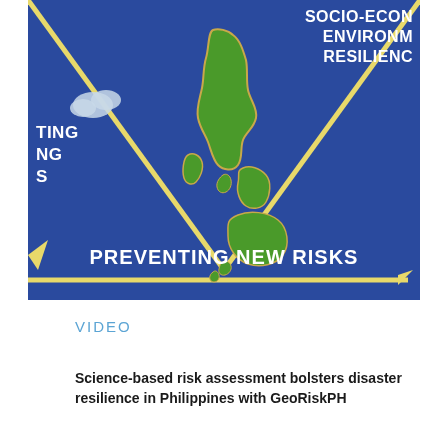[Figure (infographic): Infographic showing a map of the Philippines on a blue background with yellow triangle/arrow shapes pointing inward and downward. Text reads 'SOCIO-ECON ENVIRONM RESILIENC' in top right, 'TING NG S' on left side, and 'PREVENTING NEW RISKS' at the bottom. A cloud icon is visible on the upper left.]
VIDEO
Science-based risk assessment bolsters disaster resilience in Philippines with GeoRiskPH